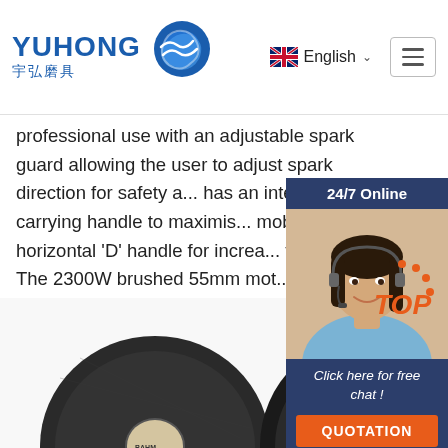YUHONG 宇弘磨具 | English | Navigation
professional use with an adjustable spark guard allowing the user to adjust spark direction for safety a... has an integrated carrying handle to maximis... mobility and a horizontal 'D' handle for increa... for the user. The 2300W brushed 55mm mot... performance, is extremely powerful and ...
[Figure (photo): Customer service representative with headset, chat widget showing '24/7 Online', 'Click here for free chat!', and 'QUOTATION' button]
Get Price
[Figure (photo): Cutting/grinding discs shown at bottom of page, dark circular abrasive wheels with labels]
[Figure (logo): TOP badge with orange dots in upper arc]